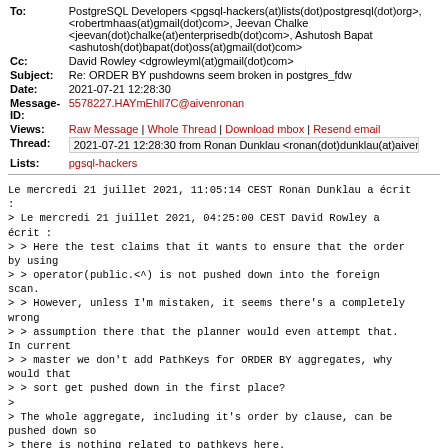| To: | PostgreSQL Developers <pgsql-hackers(at)lists(dot)postgresql(dot)org>, <robertmhaas(at)gmail(dot)com>, Jeevan Chalke <jeevan(dot)chalke(at)enterprisedb(dot)com>, Ashutosh Bapat <ashutosh(dot)bapat(dot)oss(at)gmail(dot)com> |
| Cc: | David Rowley <dgrowleyml(at)gmail(dot)com> |
| Subject: | Re: ORDER BY pushdowns seem broken in postgres_fdw |
| Date: | 2021-07-21 12:28:30 |
| Message-ID: | 5578227.HAYmEhlI7C@aivenronan |
| Views: | Raw Message | Whole Thread | Download mbox | Resend email |
| Thread: | 2021-07-21 12:28:30 from Ronan Dunklau <ronan(dot)dunklau(at)aiven(dot... |
| Lists: | pgsql-hackers |
Le mercredi 21 juillet 2021, 11:05:14 CEST Ronan Dunklau a écrit :
> Le mercredi 21 juillet 2021, 04:25:00 CEST David Rowley a écrit :
> > Here the test claims that it wants to ensure that the order by using
> > operator(public.<^) is not pushed down into the foreign scan.
> > However, unless I'm mistaken, it seems there's a completely wrong
> > assumption there that the planner would even attempt that. In current
> > master we don't add PathKeys for ORDER BY aggregates, why would that
> > sort get pushed down in the first place?
> >
> The whole aggregate, including it's order by clause, can be pushed down so
> there is nothing related to pathkeys here.
> 
> > If I adjust that query to something that would have the